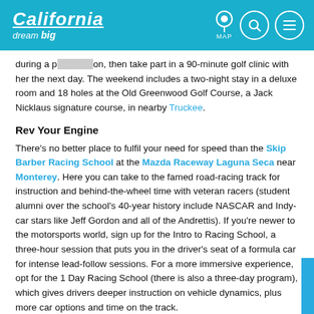California dream big — MAP [navigation icons]
during a presentation, then take part in a 90-minute golf clinic with her the next day. The weekend includes a two-night stay in a deluxe room and 18 holes at the Old Greenwood Golf Course, a Jack Nicklaus signature course, in nearby Truckee.
Rev Your Engine
There's no better place to fulfil your need for speed than the Skip Barber Racing School at the Mazda Raceway Laguna Seca near Monterey. Here you can take to the famed road-racing track for instruction and behind-the-wheel time with veteran racers (student alumni over the school's 40-year history include NASCAR and Indy-car stars like Jeff Gordon and all of the Andrettis). If you're newer to the motorsports world, sign up for the Intro to Racing School, a three-hour session that puts you in the driver's seat of a formula car for intense lead-follow sessions. For a more immersive experience, opt for the 1 Day Racing School (there is also a three-day program), which gives drivers deeper instruction on vehicle dynamics, plus more car options and time on the track.